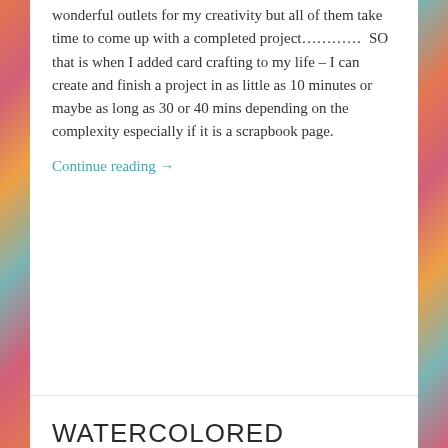wonderful outlets for my creativity but all of them take time to come up with a completed project…………  SO that is when I added card crafting to my life – I can create and finish a project in as little as 10 minutes or maybe as long as 30 or 40 mins depending on the complexity especially if it is a scrapbook page.
Continue reading →
WATERCOLORED COUNTRY FLORAL EMBOSSING FOLDER ~ FREE FROM STAMPIN' UP!